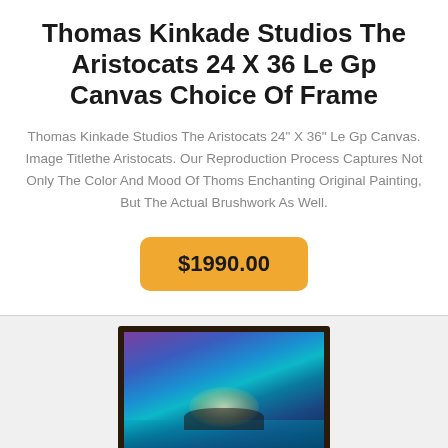Thomas Kinkade Studios The Aristocats 24 X 36 Le Gp Canvas Choice Of Frame
Thomas Kinkade Studios The Aristocats 24" X 36" Le Gp Canvas. Image Titlethe Aristocats. Our Reproduction Process Captures Not Only The Color And Mood Of Thoms Enchanting Original Painting, But The Actual Brushwork As Well.
$1990.00
[Figure (photo): Framed Thomas Kinkade canvas painting showing an underwater scene with glowing light, figures in a boat, and colorful ocean imagery.]